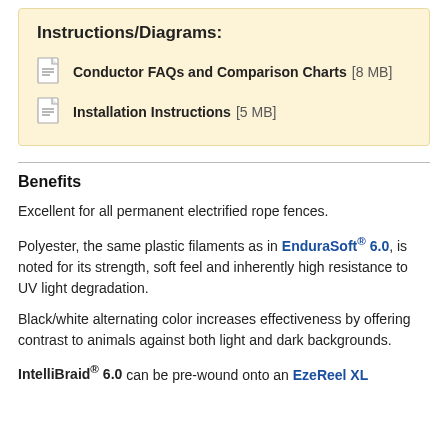Instructions/Diagrams:
Conductor FAQs and Comparison Charts [8 MB]
Installation Instructions [5 MB]
Benefits
Excellent for all permanent electrified rope fences.
Polyester, the same plastic filaments as in EnduraSoft® 6.0, is noted for its strength, soft feel and inherently high resistance to UV light degradation.
Black/white alternating color increases effectiveness by offering contrast to animals against both light and dark backgrounds.
IntelliBraid® 6.0 can be pre-wound onto an EzeReel XL